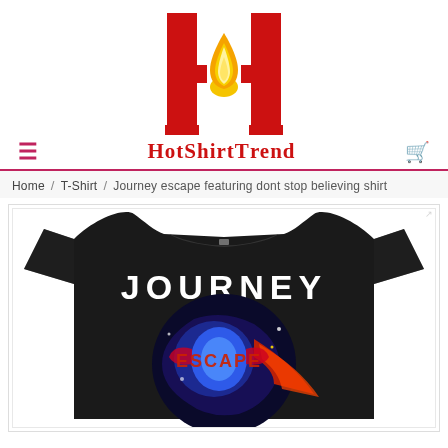[Figure (logo): HotShirtTrend logo: large red stylized H letter with flame (yellow/orange) in the center crossbar]
HotShirtTrend — navigation bar with hamburger menu icon and cart icon
Home / T-Shirt / Journey escape featuring dont stop believing shirt
[Figure (photo): Black t-shirt featuring Journey Escape album art graphic with 'JOURNEY' text on chest, colorful scarab/rocket graphic on dark background]